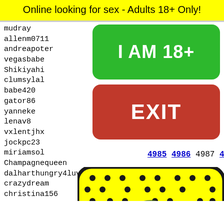Online looking for sex - Adults 18+ Only!
mudray
allenm0711
andreapoter
vegasbabe
Shikiyahi
clumsylal
babe420
gator86
yanneke
lenav8
vxlentjhx
jockpc23
miriamsol
Champagnequeen
dalharthungry4luv
crazydream
christina156
timmy_rulez
nerea0417
natyyi
prince
lovezh
chaowa
che356
rimahd
[Figure (other): Green button with text I AM 18+]
[Figure (other): Red EXIT button]
4985 4986 4987 4988 4989
[Figure (other): Snapchat ghost logo on yellow background with black dots pattern]